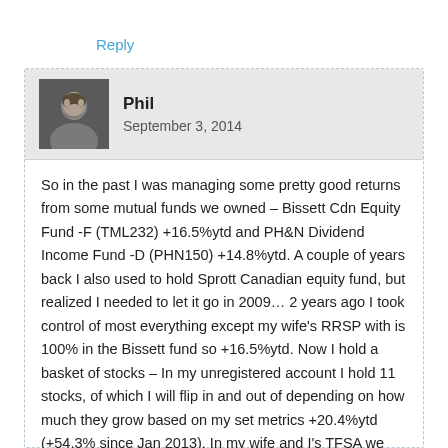Reply
[Figure (photo): Avatar photo of Phil, a man facing the camera against a neutral background]
Phil
September 3, 2014
So in the past I was managing some pretty good returns from some mutual funds we owned – Bissett Cdn Equity Fund -F (TML232) +16.5%ytd and PH&N Dividend Income Fund -D (PHN150) +14.8%ytd. A couple of years back I also used to hold Sprott Canadian equity fund, but realized I needed to let it go in 2009… 2 years ago I took control of most everything except my wife's RRSP with is 100% in the Bissett fund so +16.5%ytd. Now I hold a basket of stocks – In my unregistered account I hold 11 stocks, of which I will flip in and out of depending on how much they grow based on my set metrics +20.4%ytd (+54.3% since Jan 2013). In my wife and I's TFSA we hold growth momentum stocks, which from time to time again I will buy and sell depending on what I have set my targets to be (+32.5%ytd and some more continuing which is